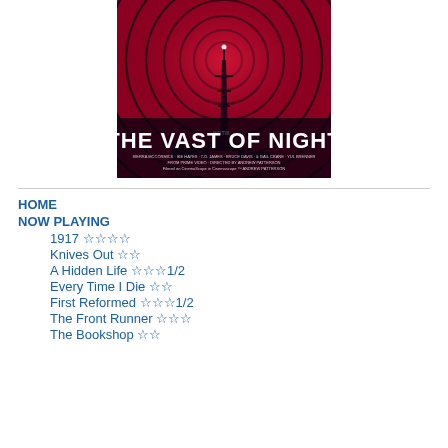[Figure (photo): Movie poster for 'The Vast of Night' — dark red/crimson background with concentric circular radio wave lines emanating from a radio tower silhouette. White stylized text reads 'THE VAST OF NIGHT' with film credits at the bottom.]
HOME
NOW PLAYING
1917 ☆☆☆☆
Knives Out ☆☆
A Hidden Life ☆☆☆1/2
Every Time I Die ☆☆
First Reformed ☆☆☆1/2
The Front Runner ☆☆☆
The Bookshop ☆☆